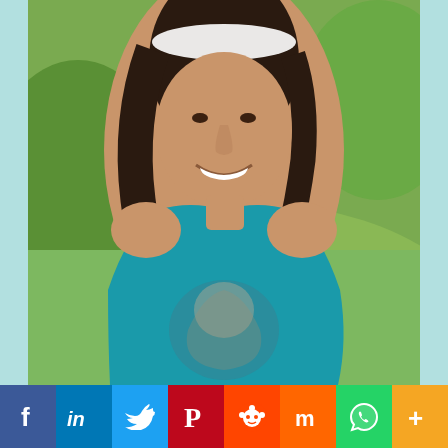[Figure (photo): A smiling young woman with dark hair wearing a white headband and a teal/blue sleeveless tank top with a printed face graphic on it. She is outdoors against a green grassy hillside background.]
[Figure (infographic): Social media sharing bar with 8 buttons: Facebook (f, blue), LinkedIn (in, dark blue), Twitter (bird icon, light blue), Pinterest (P, red), Reddit (alien icon, orange-red), Mix/StumbleUpon (m, orange), WhatsApp (phone icon, green), More (plus sign, yellow-orange)]